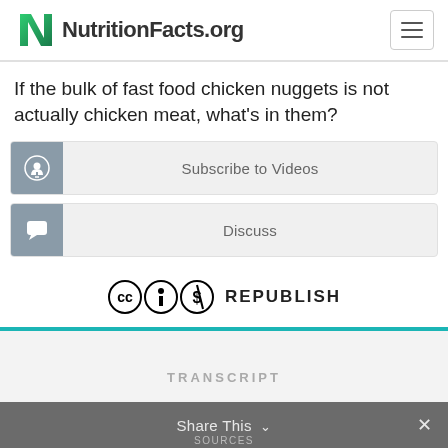NutritionFacts.org
If the bulk of fast food chicken nuggets is not actually chicken meat, what’s in them?
Subscribe to Videos
Discuss
REPUBLISH
TRANSCRIPT
Share This  SOURCES